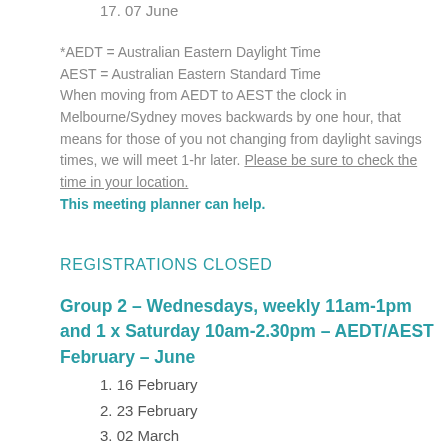17. 07 June
*AEDT = Australian Eastern Daylight Time
AEST = Australian Eastern Standard Time
When moving from AEDT to AEST the clock in Melbourne/Sydney moves backwards by one hour, that means for those of you not changing from daylight savings times, we will meet 1-hr later. Please be sure to check the time in your location.
This meeting planner can help.
REGISTRATIONS CLOSED
Group 2 – Wednesdays, weekly 11am-1pm and 1 x Saturday 10am-2.30pm  – AEDT/AEST February – June
1. 16 February
2. 23 February
3. 02 March
4. 09 March